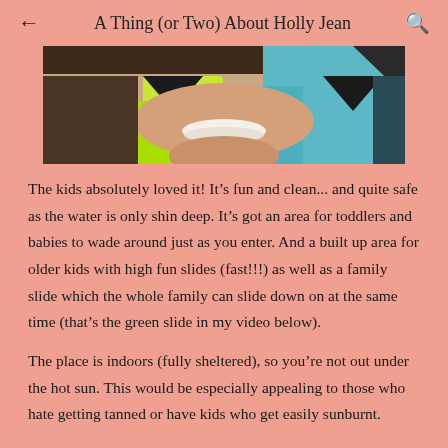← A Thing (or Two) About Holly Jean 🔍
[Figure (photo): Close-up photo of a smiling person wearing a neon yellow/green top near water, cropped to show lower face and shoulders.]
The kids absolutely loved it! It's fun and clean... and quite safe as the water is only shin deep. It's got an area for toddlers and babies to wade around just as you enter. And a built up area for older kids with high fun slides (fast!!!) as well as a family slide which the whole family can slide down on at the same time (that's the green slide in my video below).
The place is indoors (fully sheltered), so you're not out under the hot sun. This would be especially appealing to those who hate getting tanned or have kids who get easily sunburnt.